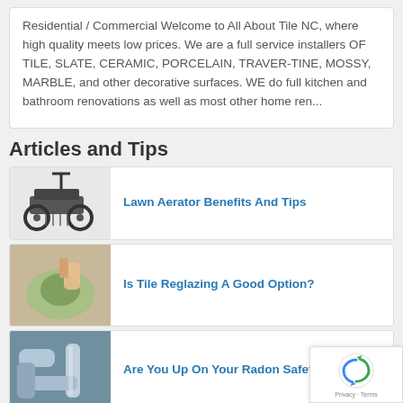Residential / Commercial Welcome to All About Tile NC, where high quality meets low prices. We are a full service installers OF TILE, SLATE, CERAMIC, PORCELAIN, TRAVERTINE, MOSSY, MARBLE, and other decorative surfaces. WE do full kitchen and bathroom renovations as well as most other home ren...
Articles and Tips
[Figure (photo): Lawn aerator machine with wheels and tines]
Lawn Aerator Benefits And Tips
[Figure (photo): Close-up of tile reglazing process with green sponge]
Is Tile Reglazing A Good Option?
[Figure (photo): Radon mitigation pipes and ductwork]
Are You Up On Your Radon Safety?